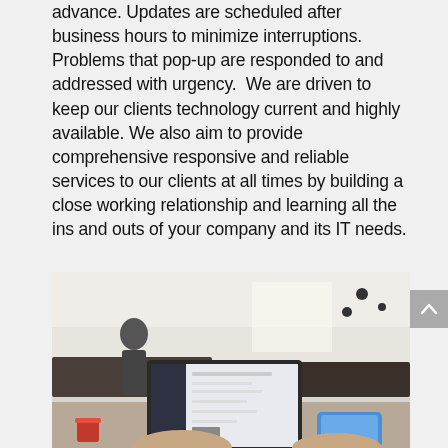advance. Updates are scheduled after business hours to minimize interruptions. Problems that pop-up are responded to and addressed with urgency.  We are driven to keep our clients technology current and highly available. We also aim to provide comprehensive responsive and reliable services to our clients at all times by building a close working relationship and learning all the ins and outs of your company and its IT needs.
[Figure (photo): A person sitting in a cafe or office environment using a laptop computer and holding a smartphone, with a blurred background showing another person standing near a counter.]